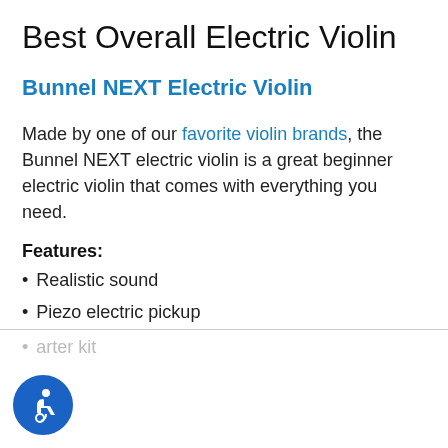Best Overall Electric Violin
Bunnel NEXT Electric Violin
Made by one of our favorite violin brands, the Bunnel NEXT electric violin is a great beginner electric violin that comes with everything you need.
Features:
Realistic sound
Piezo electric pickup
arter kit